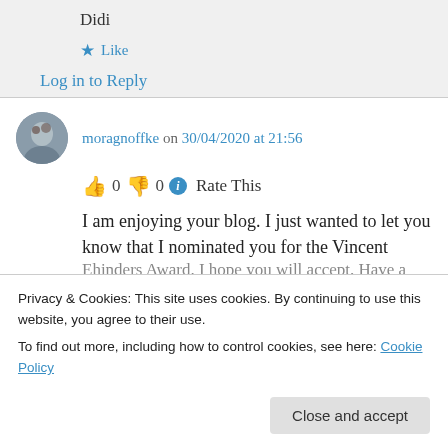Didi
★ Like
Log in to Reply
moragnoffke on 30/04/2020 at 21:56
👍 0 👎 0 ℹ Rate This
I am enjoying your blog. I just wanted to let you know that I nominated you for the Vincent Ehinders Award. I hope you will accept. Have a
Privacy & Cookies: This site uses cookies. By continuing to use this website, you agree to their use.
To find out more, including how to control cookies, see here: Cookie Policy
Close and accept